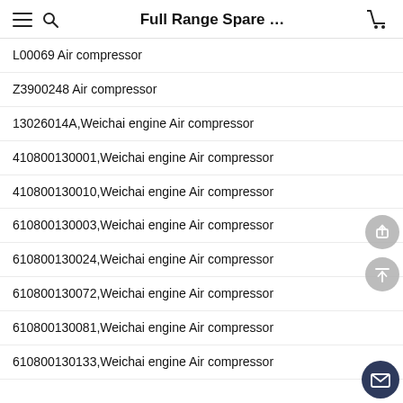Full Range Spare …
L00069 Air compressor
Z3900248 Air compressor
13026014A,Weichai engine Air compressor
410800130001,Weichai engine Air compressor
410800130010,Weichai engine Air compressor
610800130003,Weichai engine Air compressor
610800130024,Weichai engine Air compressor
610800130072,Weichai engine Air compressor
610800130081,Weichai engine Air compressor
610800130133,Weichai engine Air compressor